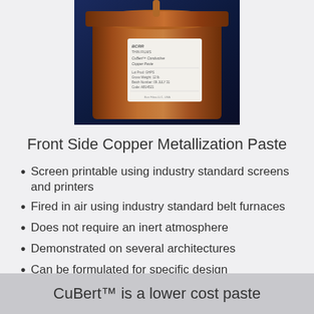[Figure (photo): A jar of BCRR Thin Films CuBert Conductive Copper Paste with copper-colored paste, on a dark blue background, with paste dripping into the jar from above.]
Front Side Copper Metallization Paste
Screen printable using industry standard screens and printers
Fired in air using industry standard belt furnaces
Does not require an inert atmosphere
Demonstrated on several architectures
Can be formulated for specific design
CuBert™ is a lower cost paste